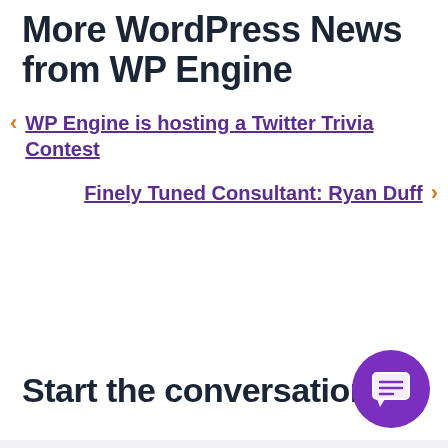More WordPress News from WP Engine
WP Engine is hosting a Twitter Trivia Contest
Finely Tuned Consultant: Ryan Duff
Start the conversation.